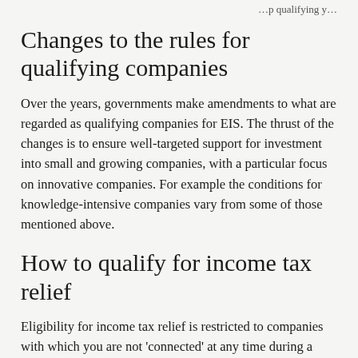Changes to the rules for qualifying companies
Over the years, governments make amendments to what are regarded as qualifying companies for EIS. The thrust of the changes is to ensure well-targeted support for investment into small and growing companies, with a particular focus on innovative companies. For example the conditions for knowledge-intensive companies vary from some of those mentioned above.
How to qualify for income tax relief
Eligibility for income tax relief is restricted to companies with which you are not 'connected' at any time during a period beginning two years before the issue of the shares and ending three years after that date, or three years from the commencement of the trade if later.
You are also connected with a company at a given time...